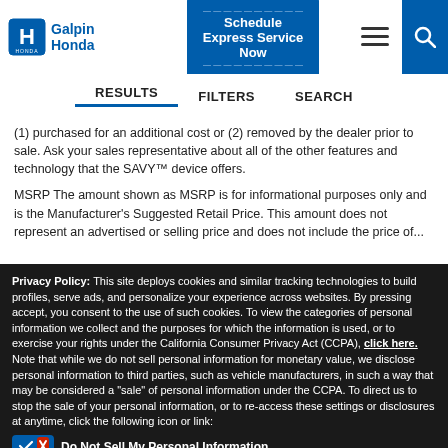[Figure (logo): Galpin Honda logo with Honda H emblem]
[Figure (screenshot): Schedule Express Service Now button]
[Figure (screenshot): Hamburger menu icon and search icon]
RESULTS   FILTERS   SEARCH
(1) purchased for an additional cost or (2) removed by the dealer prior to sale. Ask your sales representative about all of the other features and technology that the SAVY™ device offers.
MSRP The amount shown as MSRP is for informational purposes only and is the Manufacturer's Suggested Retail Price. This amount does not represent an advertised or selling price and does not include the price of...
Privacy Policy: This site deploys cookies and similar tracking technologies to build profiles, serve ads, and personalize your experience across websites. By pressing accept, you consent to the use of such cookies. To view the categories of personal information we collect and the purposes for which the information is used, or to exercise your rights under the California Consumer Privacy Act (CCPA), click here. Note that while we do not sell personal information for monetary value, we disclose personal information to third parties, such as vehicle manufacturers, in such a way that may be considered a "sale" of personal information under the CCPA. To direct us to stop the sale of your personal information, or to re-access these settings or disclosures at anytime, click the following icon or link:
Do Not Sell My Personal Information
Language: English
Powered by ComplyAuto
Accept and Continue →
California Privacy Disclosures